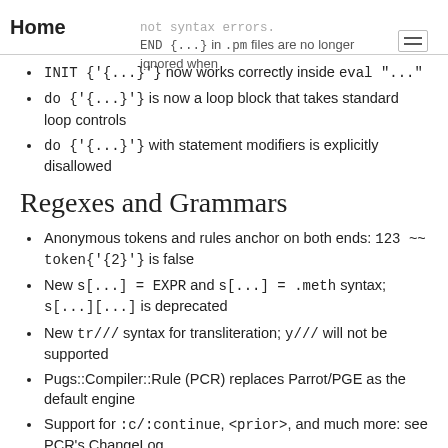Home
INIT {...} now works correctly inside eval "..."
do {...} is now a loop block that takes standard loop controls
do {...} with statement modifiers is explicitly disallowed
Regexes and Grammars
Anonymous tokens and rules anchor on both ends: 123 ~~ token{2} is false
New s[...] = EXPR and s[...] = .meth syntax; s[...][...] is deprecated
New tr/// syntax for transliteration; y/// will not be supported
Pugs::Compiler::Rule (PCR) replaces Parrot/PGE as the default engine
Support for :c/:continue, <prior>, and much more: see PCR's ChangeLog
$(), @() and %() parse correctly as $$/, @$/ and %$/
/.../ matches $_ under Int, Num and void context in